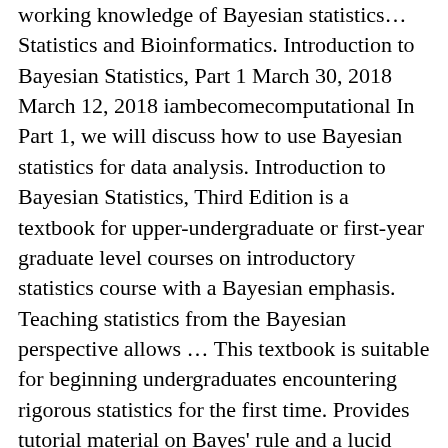working knowledge of Bayesian statistics... Statistics and Bioinformatics. Introduction to Bayesian Statistics, Part 1 March 30, 2018 March 12, 2018 iambecomecomputational In Part 1, we will discuss how to use Bayesian statistics for data analysis. Introduction to Bayesian Statistics, Third Edition is a textbook for upper-undergraduate or first-year graduate level courses on introductory statistics course with a Bayesian emphasis. Teaching statistics from the Bayesian perspective allows ... This textbook is suitable for beginning undergraduates encountering rigorous statistics for the first time. Provides tutorial material on Bayes' rule and a lucid analysis of the distinction between Bayesian and frequentist statistics. This class is an introduction to Bayesian statistics including "subjective probability, Renyi axiom system, Savage